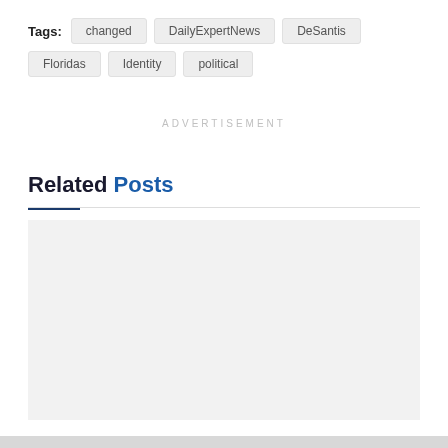Tags:  changed  DailyExpertNews  DeSantis  Floridas  Identity  political
ADVERTISEMENT
Related Posts
[Figure (other): Empty light gray placeholder card for a related post image]